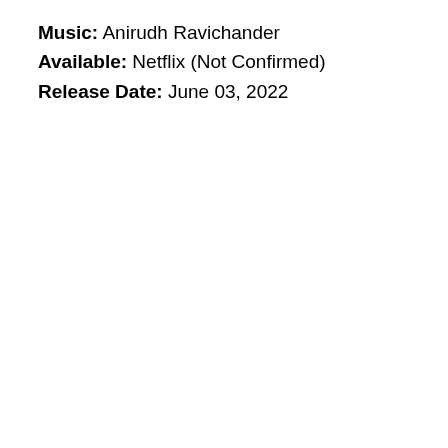Music: Anirudh Ravichander
Available: Netflix (Not Confirmed)
Release Date: June 03, 2022